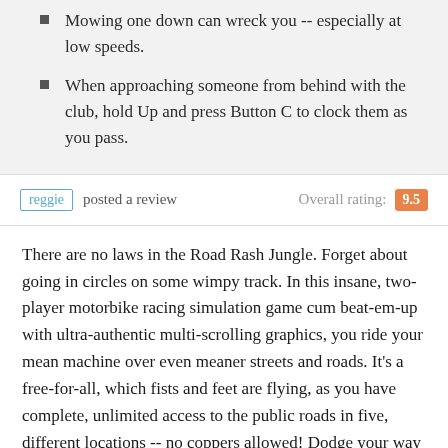Mowing one down can wreck you -- especially at low speeds.
When approaching someone from behind with the club, hold Up and press Button C to clock them as you pass.
reggie posted a review   Overall rating: 9.5
There are no laws in the Road Rash Jungle. Forget about going in circles on some wimpy track. In this insane, two-player motorbike racing simulation game cum beat-em-up with ultra-authentic multi-scrolling graphics, you ride your mean machine over even meaner streets and roads. It's a free-for-all, which fists and feet are flying, as you have complete, unlimited access to the public roads in five, different locations -- no coppers allowed! Dodge your way around enraged motorists, slow moving cows, and other bikes are other